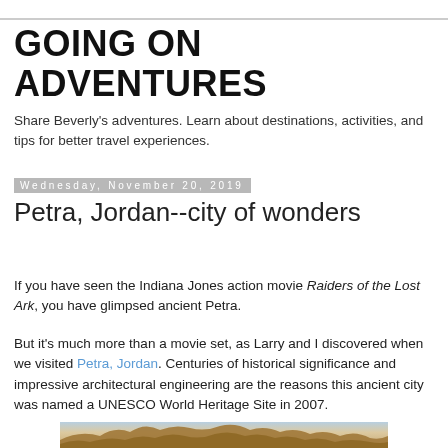GOING ON ADVENTURES
Share Beverly's adventures. Learn about destinations, activities, and tips for better travel experiences.
Wednesday, November 20, 2019
Petra, Jordan--city of wonders
If you have seen the Indiana Jones action movie Raiders of the Lost Ark, you have glimpsed ancient Petra.
But it's much more than a movie set, as Larry and I discovered when we visited Petra, Jordan. Centuries of historical significance and impressive architectural engineering are the reasons this ancient city was named a UNESCO World Heritage Site in 2007.
[Figure (photo): Photo of ancient rock formations at Petra, Jordan — sandy brown carved rock structures and cliffs visible from below]